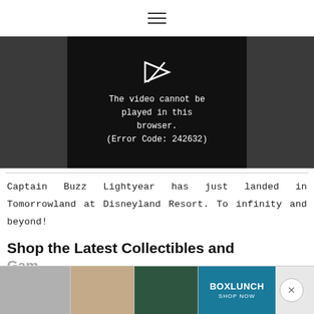≡
[Figure (screenshot): Video player showing error message: 'The video cannot be played in this browser. (Error Code: 242632)' on black background with dark gray side panels]
Captain Buzz Lightyear has just landed in Tomorrowland at Disneyland Resort. To infinity and beyond!
Shop the Latest Collectibles and
[Figure (photo): Advertisement banner at bottom showing Harry Potter merchandise images and BoxLunch logo with 'SHOP NOW' text, with close button]